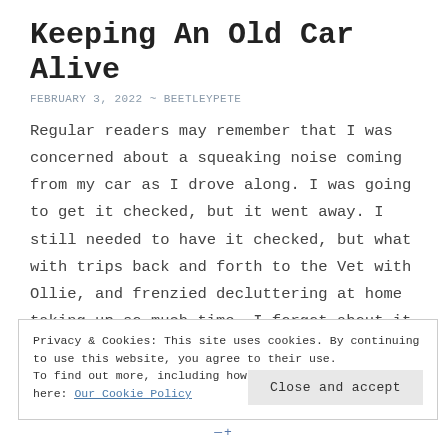Keeping An Old Car Alive
FEBRUARY 3, 2022 ~ BEETLEYPETE
Regular readers may remember that I was concerned about a squeaking noise coming from my car as I drove along. I was going to get it checked, but it went away. I still needed to have it checked, but what with trips back and forth to the Vet with Ollie, and frenzied decluttering at home taking up so much time, I forgot about it.
Privacy & Cookies: This site uses cookies. By continuing to use this website, you agree to their use.
To find out more, including how to control cookies, see here: Our Cookie Policy